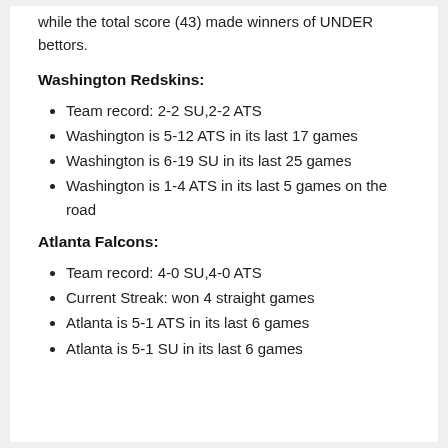while the total score (43) made winners of UNDER bettors.
Washington Redskins:
Team record: 2-2 SU,2-2 ATS
Washington is 5-12 ATS in its last 17 games
Washington is 6-19 SU in its last 25 games
Washington is 1-4 ATS in its last 5 games on the road
Atlanta Falcons:
Team record: 4-0 SU,4-0 ATS
Current Streak: won 4 straight games
Atlanta is 5-1 ATS in its last 6 games
Atlanta is 5-1 SU in its last 6 games